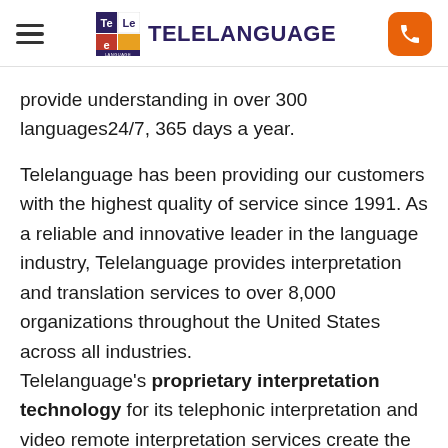TELELANGUAGE
provide understanding in over 300 languages24/7, 365 days a year.
Telelanguage has been providing our customers with the highest quality of service since 1991. As a reliable and innovative leader in the language industry, Telelanguage provides interpretation and translation services to over 8,000 organizations throughout the United States across all industries. Telelanguage's proprietary interpretation technology for its telephonic interpretation and video remote interpretation services create the foundation for connecting interpreters, monitoring quality, tracking data and finding more efficient ways to
[Figure (logo): Telelanguage logo with colorful Te/Le grid squares and brand name]